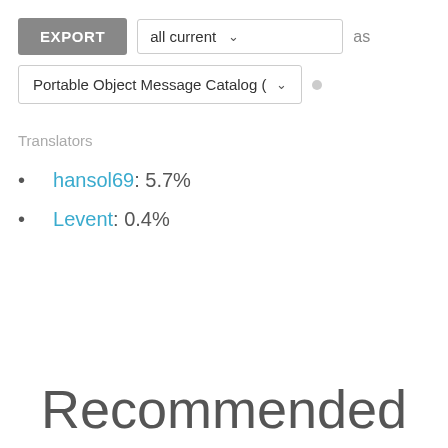[Figure (screenshot): UI export controls: EXPORT button, 'all current' dropdown, 'as' label, and 'Portable Object Message Catalog' dropdown with a dot icon]
Translators
hansol69: 5.7%
Levent: 0.4%
Recommended